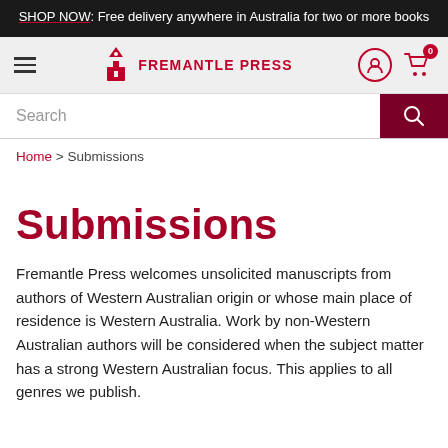SHOP NOW: Free delivery anywhere in Australia for two or more books
[Figure (logo): Fremantle Press logo with lighthouse icon and navigation icons]
Search
Home > Submissions
Submissions
Fremantle Press welcomes unsolicited manuscripts from authors of Western Australian origin or whose main place of residence is Western Australia. Work by non-Western Australian authors will be considered when the subject matter has a strong Western Australian focus. This applies to all genres we publish.